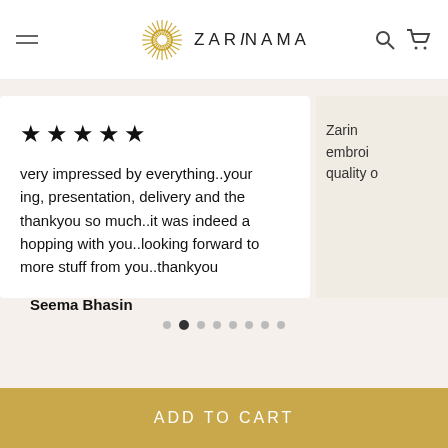[Figure (logo): Zarinama brand logo with golden sunburst circle and 'ZARINAMA' text in spaced capitals]
★★★★★
very impressed by everything..your ing, presentation, delivery and the thankyou so much..it was indeed a hopping with you..looking forward to more stuff from you..thankyou
Seema Bhasin
Zarin embroi quality o
[Figure (other): Carousel pagination dots, 8 dots with second one active/filled]
ADD TO CART